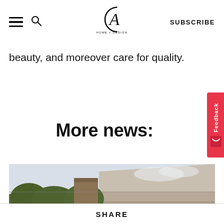CA Home + Design — navigation bar with hamburger menu, search, logo, and SUBSCRIBE
beauty, and moreover care for quality.
More news:
[Figure (photo): Exterior architectural photo showing roofline with wooden/brick chimney element against a light sky, with greenery visible at left]
SHARE